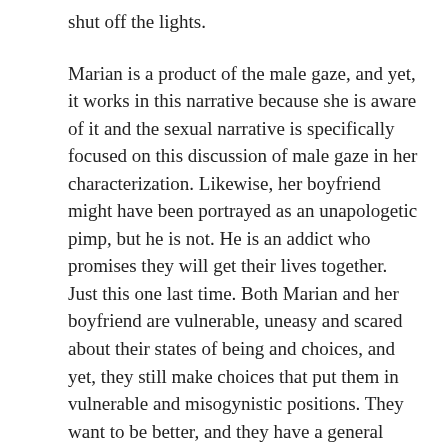shut off the lights.
Marian is a product of the male gaze, and yet, it works in this narrative because she is aware of it and the sexual narrative is specifically focused on this discussion of male gaze in her characterization. Likewise, her boyfriend might have been portrayed as an unapologetic pimp, but he is not. He is an addict who promises they will get their lives together. Just this one last time. Both Marian and her boyfriend are vulnerable, uneasy and scared about their states of being and choices, and yet, they still make choices that put them in vulnerable and misogynistic positions. They want to be better, and they have a general idea of what this might be, but their addictions to drugs and each other are perpetuating their spiraling arcs.
In this example, we see how the male gaze can be an